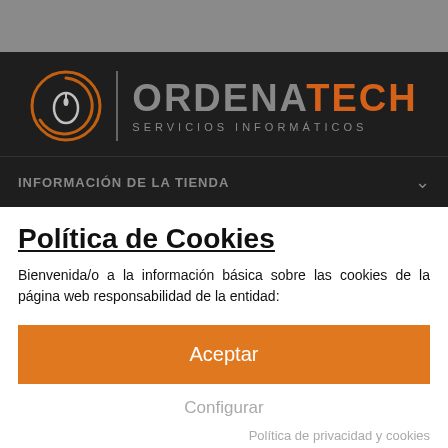[Figure (logo): OrdenaTech logo with circular mouse icon, vertical divider, and company name 'ORDENATECH' with subtitle 'SERVICIOS INFORMÁTICOS' on dark background]
INFORMACIÓN DE LA TIENDA
Política de Cookies
Bienvenida/o a la información básica sobre las cookies de la página web responsabilidad de la entidad:
Aceptar
Configurar
Política de privacidad y cookies